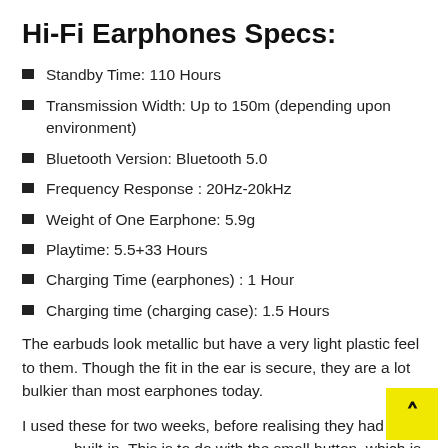Hi-Fi Earphones Specs:
Standby Time: 110 Hours
Transmission Width: Up to 150m (depending upon environment)
Bluetooth Version: Bluetooth 5.0
Frequency Response : 20Hz-20kHz
Weight of One Earphone: 5.9g
Playtime: 5.5+33 Hours
Charging Time (earphones) : 1 Hour
Charging time (charging case): 1.5 Hours
The earbuds look metallic but have a very light plastic feel to them. Though the fit in the ear is secure, they are a lot bulkier than most earphones today.
I used these for two weeks, before realising they had co built-in. This is to do with the small button, which is very hard to press. This then causes the earbud to get further into the